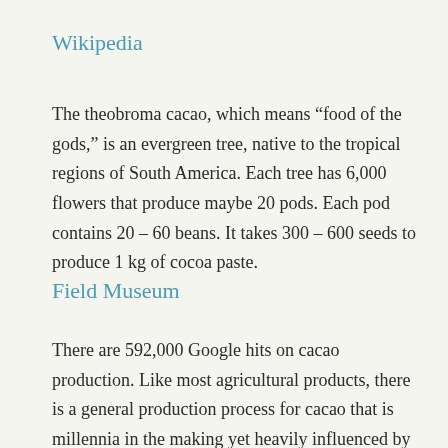Wikipedia
The theobroma cacao, which means “food of the gods,” is an evergreen tree, native to the tropical regions of South America. Each tree has 6,000 flowers that produce maybe 20 pods. Each pod contains 20 – 60 beans. It takes 300 – 600 seeds to produce 1 kg of cocoa paste.
Field Museum
There are 592,000 Google hits on cacao production. Like most agricultural products, there is a general production process for cacao that is millennia in the making yet heavily influenced by scientific and technological developments over the past two hundred